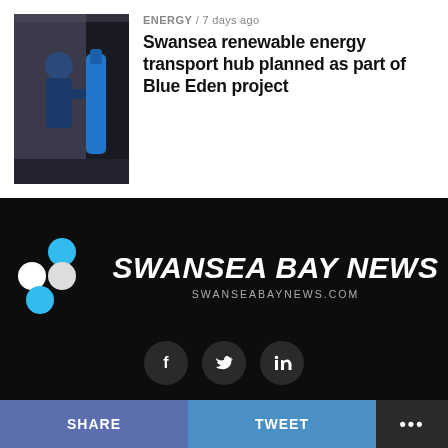[Figure (photo): Photo of a person in blue jacket using an EV charging station or fuel pump, with blue cylinder visible]
ENERGY / 7 days ago
Swansea renewable energy transport hub planned as part of Blue Eden project
[Figure (logo): Swansea Bay News logo: four circles arranged in a diamond pattern (light blue top, white left and right, light blue bottom) beside bold italic white text SWANSEA BAY NEWS and URL SWANSEABAYNEWS.COM below, on black background]
[Figure (infographic): Social media icons: Facebook (f), Twitter (bird), LinkedIn (in) — dark circular buttons on black background]
SHARE   TWEET   ...